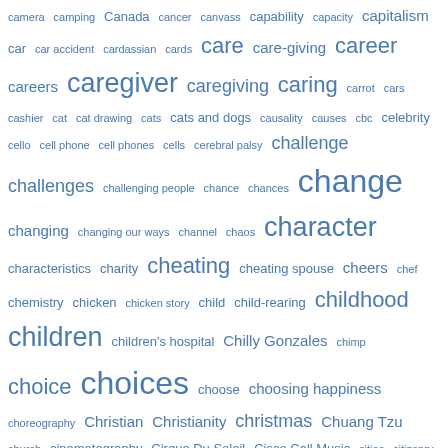[Figure (other): Tag cloud of words and phrases starting with 'ca' through 'co', rendered in varying font sizes in blue, indicating frequency or importance. Terms include: camera, camping, Canada, cancer, canvass, capability, capacity, capitalism, car, car accident, cardassian, cards, care, care-giving, career, careers, caregiver, caregiving, caring, carrot, cars, cashier, cat, cat drawing, cats, cats and dogs, causality, causes, cbc, celebrity, cello, cell phone, cell phones, cells, cerebral palsy, challenge, challenges, challenging people, chance, chances, change, changing, changing our ways, channel, chaos, character, characteristics, charity, cheating, cheating spouse, cheers, chef, chemistry, chicken, chicken story, child, child-rearing, childhood, children, children's hospital, Chilly Gonzales, chimp, choice, choices, choose, choosing happiness, choreography, Christian, Christianity, christmas, Chuang Tzu, church, cinematography, Cirque Du Soleil, Cisco Call Music, cities, citizenry, citizens, citizenship, city, civic duty, civilization, cjoybell c, clarity, classes, clearheaded, clever, climate change, climbing, climbing tower, Clint Eastwood, clio awards, cliques, clock, closeness, clothes, clothing, clown, CNN, co-]